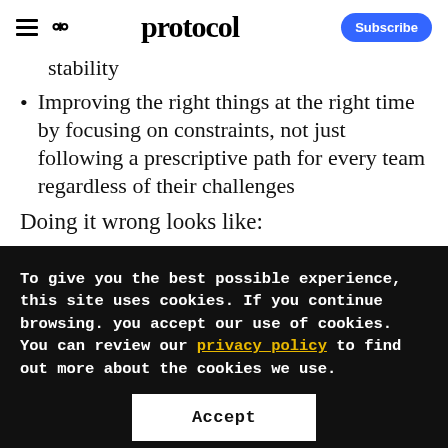protocol
stability
Improving the right things at the right time by focusing on constraints, not just following a prescriptive path for every team regardless of their challenges
Doing it wrong looks like:
To give you the best possible experience, this site uses cookies. If you continue browsing. you accept our use of cookies. You can review our privacy policy to find out more about the cookies we use.
Accept